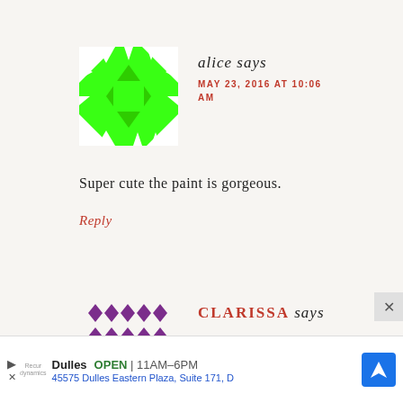[Figure (illustration): Green geometric quilt-pattern avatar for user 'alice']
alice says
MAY 23, 2016 AT 10:06 AM
Super cute the paint is gorgeous.
Reply
[Figure (illustration): Purple geometric quilt-pattern avatar for user 'CLARISSA']
CLARISSA says
Dulles  OPEN  11AM–6PM  45575 Dulles Eastern Plaza, Suite 171, D